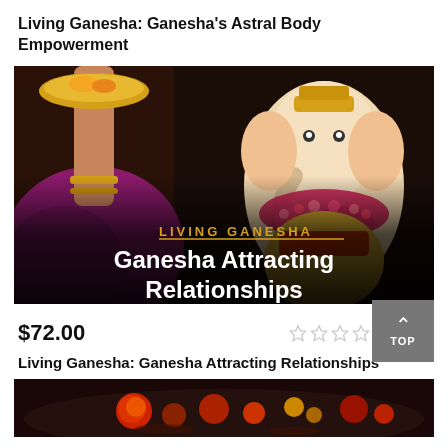Living Ganesha: Ganesha’s Astral Body Empowerment
[Figure (photo): Product thumbnail image showing a Ganesha statue adorned with flower garlands, being offered a plate of food by a person wearing a sari and gold bangles. Overlay text reads 'LIVING GANESHA' in gold and 'Ganesha Attracting Relationships' in white bold text.]
$72.00
Living Ganesha: Ganesha Attracting Relationships
[Figure (photo): Partial bottom thumbnail image showing colorful religious offerings/decorations on water, dark background.]